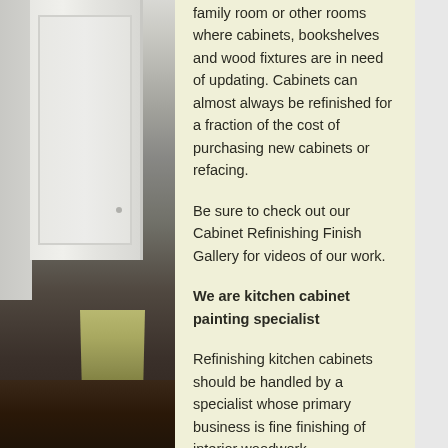[Figure (photo): Interior photo showing white painted cabinet doors and wood paneling on the left side, with a floral curtain and dark hardwood floor visible in the lower portion.]
family room or other rooms where cabinets, bookshelves and wood fixtures are in need of updating. Cabinets can almost always be refinished for a fraction of the cost of purchasing new cabinets or refacing.
Be sure to check out our Cabinet Refinishing Finish Gallery for videos of our work.
We are kitchen cabinet painting specialist
Refinishing kitchen cabinets should be handled by a specialist whose primary business is fine finishing of interior woodwork.